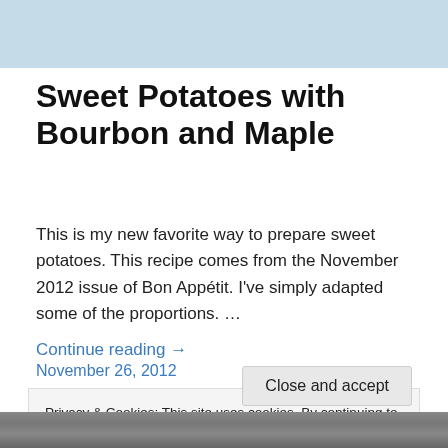[Figure (photo): Top portion of a food photo showing a bowl or dish, cut off at the top of the page]
Sweet Potatoes with Bourbon and Maple
This is my new favorite way to prepare sweet potatoes. This recipe comes from the November 2012 issue of Bon Appétit. I've simply adapted some of the proportions. …
Continue reading →
November 26, 2012
Privacy & Cookies: This site uses cookies. By continuing to use this website, you agree to their use.
To find out more, including how to control cookies, see here: Cookie Policy
[Figure (photo): Bottom portion of a food photo, partially visible at the bottom of the page]